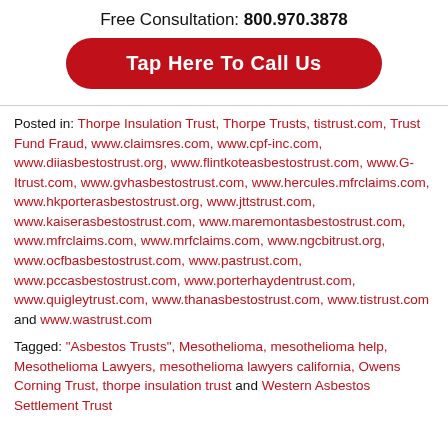Free Consultation: 800.970.3878
[Figure (other): Red rounded button with white text: Tap Here To Call Us]
Posted in: Thorpe Insulation Trust, Thorpe Trusts, tistrust.com, Trust Fund Fraud, www.claimsres.com, www.cpf-inc.com, www.diiasbestostrust.org, www.flintkoteasbestostrust.com, www.G-Itrust.com, www.gvhasbestostrust.com, www.hercules.mfrclaims.com, www.hkporterasbestostrust.org, www.jttstrust.com, www.kaiserasbestostrust.com, www.maremontasbestostrust.com, www.mfrclaims.com, www.mrfclaims.com, www.ngcbitrust.org, www.ocfbasbestostrust.com, www.pastrust.com, www.pccasbestostrust.com, www.porterhaydentrust.com, www.quigleytrust.com, www.thanasbestostrust.com, www.tistrust.com and www.wastrust.com
Tagged: "Asbestos Trusts", Mesothelioma, mesothelioma help, Mesothelioma Lawyers, mesothelioma lawyers california, Owens Corning Trust, thorpe insulation trust and Western Asbestos Settlement Trust